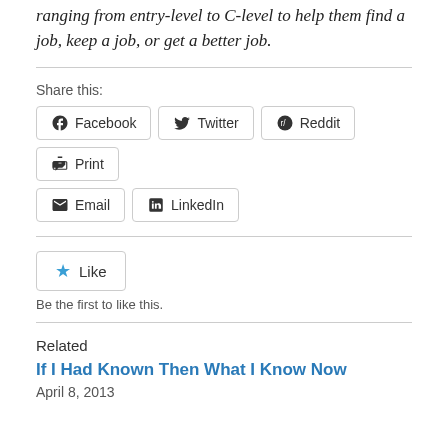ranging from entry-level to C-level to help them find a job, keep a job, or get a better job.
Share this:
[Figure (other): Share buttons: Facebook, Twitter, Reddit, Print, Email, LinkedIn]
[Figure (other): Like button widget with star icon]
Be the first to like this.
Related
If I Had Known Then What I Know Now
April 8, 2013